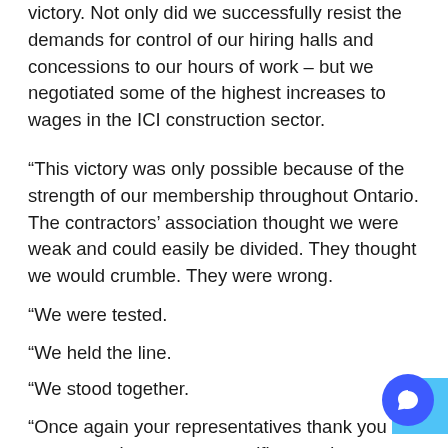victory. Not only did we successfully resist the demands for control of our hiring halls and concessions to our hours of work – but we negotiated some of the highest increases to wages in the ICI construction sector.
“This victory was only possible because of the strength of our membership throughout Ontario. The contractors’ association thought we were weak and could easily be divided. They thought we would crumble. They were wrong.
“We were tested.
“We held the line.
“We stood together.
“Once again your representatives thank you for your commitment, your sacrifices and your support.”